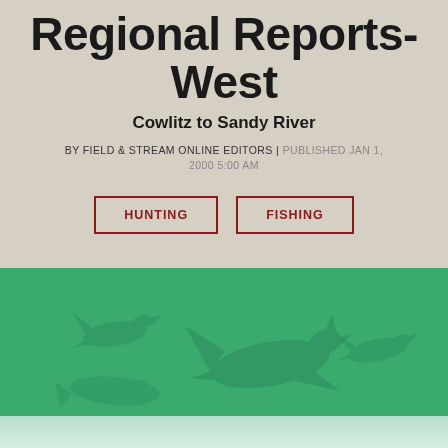Regional Reports-West
Cowlitz to Sandy River
BY FIELD & STREAM ONLINE EDITORS | PUBLISHED JAN 1, 2000 5:00 AM
HUNTING
FISHING
[Figure (illustration): Green banner image with silhouettes of flying ducks/waterfowl overlaid in darker green, with a faded reflection below.]